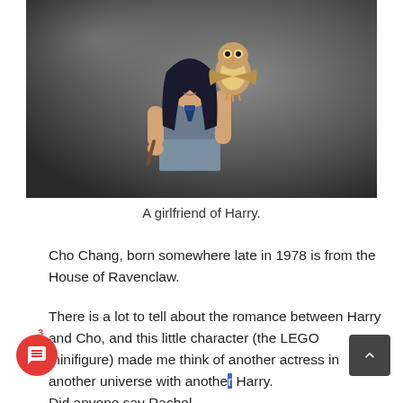[Figure (photo): A LEGO minifigure of Cho Chang in Ravenclaw robes holding a wand and an owl, against a dark grey background]
A girlfriend of Harry.
Cho Chang, born somewhere late in 1978 is from the House of Ravenclaw.
There is a lot to tell about the romance between Harry and Cho, and this little character (the LEGO minifigure) made me think of another actress in another universe with another Harry.

Did anyone say Rachel